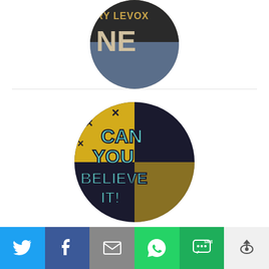[Figure (photo): Circular cropped album art thumbnail at top — shows partial text 'RY LEVOX' and 'NE' on a dark background with jeans visible]
[Figure (photo): Circular album art for Hillsong Kids – Can You Believe It, showing bold teal text 'CAN YOU BELIEVE IT' on dark background with yellow X stitching pattern]
Hillsong Kids – Can You Believe It
[Figure (infographic): Social sharing bar with icons: Twitter (blue), Facebook (dark blue), Email (grey), WhatsApp (green), SMS (green), More (light grey with up arrow)]